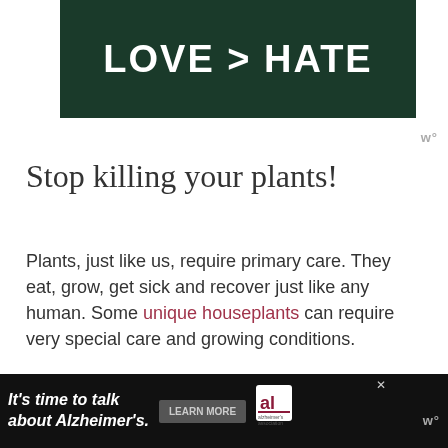[Figure (photo): Dark green background image with large white bold text reading 'LOVE > HATE']
Stop killing your plants!
Plants, just like us, require primary care. They eat, grow, get sick and recover just like any human. Some unique houseplants can require very special care and growing conditions.
Here are some innocent practices that can injure and kill your houseplants, whether we do these things knowingly or unknowingly:
[Figure (infographic): Advertisement bar at bottom: dark background with white italic text 'It’s time to talk about Alzheimer’s.' with a LEARN MORE button and Alzheimer's association logo]